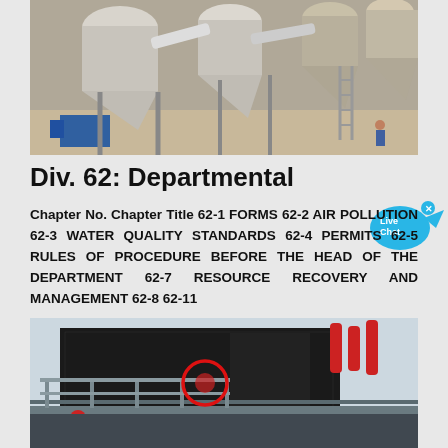[Figure (photo): Industrial dust collection/filtration equipment in a factory setting — white cyclone separators and pipes connected to machinery]
Div. 62: Departmental
Chapter No. Chapter Title 62-1 FORMS 62-2 AIR POLLUTION 62-3 WATER QUALITY STANDARDS 62-4 PERMITS 62-5 RULES OF PROCEDURE BEFORE THE HEAD OF THE DEPARTMENT 62-7 RESOURCE RECOVERY AND MANAGEMENT 62-8 62-11
[Figure (photo): Large industrial vibrating screen/crusher equipment (painted black) viewed from below with a worker in red helmet on a metal walkway; red circle highlighting a component]